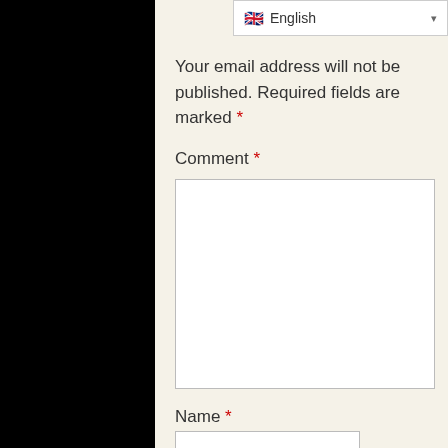[Figure (screenshot): Language selector widget showing UK flag and 'English' text with dropdown arrow]
Your email address will not be published. Required fields are marked *
Comment *
[Figure (other): Empty comment textarea input field]
Name *
[Figure (other): Empty name text input field]
Email *